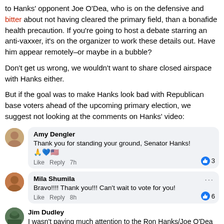to Hanks' opponent Joe O'Dea, who is on the defensive and bitter about not having cleared the primary field, than a bonafide health precaution. If you're going to host a debate starring an anti-vaxxer, it's on the organizer to work these details out. Have him appear remotely–or maybe in a bubble?
Don't get us wrong, we wouldn't want to share closed airspace with Hanks either.
But if the goal was to make Hanks look bad with Republican base voters ahead of the upcoming primary election, we suggest not looking at the comments on Hanks' video:
[Figure (screenshot): Facebook comment from Amy Dengler: 'Thank you for standing your ground, Senator Hanks! 🙏💙🇺🇸' with Like/Reply actions and 3 likes, 7h ago]
[Figure (screenshot): Facebook comment from Mila Shumila: 'Bravo!!!! Thank you!!! Can't wait to vote for you!' with Like/Reply actions and 6 likes, 8h ago]
[Figure (screenshot): Facebook comment from Jim Dudley: 'I wasn't paying much attention to the Ron Hanks/Joe O'Dea race until the last 2 weeks or so since I got my ballot. I started seeing the "Ron Hanks is too Conservative for Colorado" commercial that is now airing']